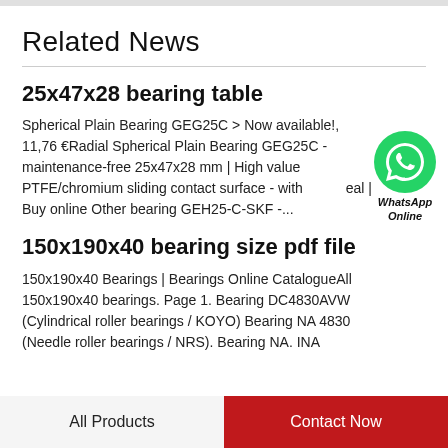Related News
25x47x28 bearing table
Spherical Plain Bearing GEG25C > Now available!, 11,76 €Radial Spherical Plain Bearing GEG25C - maintenance-free 25x47x28 mm | High value PTFE/chromium sliding contact surface - with seal | Buy online Other bearing GEH25-C-SKF -...
[Figure (logo): WhatsApp Online green circle badge with phone icon and text 'WhatsApp Online']
150x190x40 bearing size pdf file
150x190x40 Bearings | Bearings Online CatalogueAll 150x190x40 bearings. Page 1. Bearing DC4830AVW (Cylindrical roller bearings / KOYO) Bearing NA 4830 (Needle roller bearings / NRS). Bearing NA. INA
All Products    Contact Now